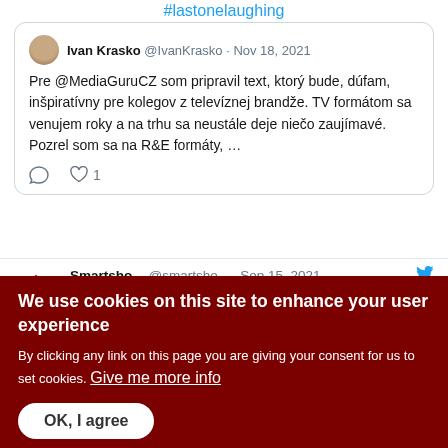#lastonelaughing
Ivan Krasko @IvanKrasko · Nov 18, 2021
Pre @MediaGuruCZ som pripravil text, ktorý bude, dúfam, inšpiratívny pre kolegov z televíznej brandže. TV formátom sa venujem roky a na trhu sa neustále deje niečo zaujímavé. Pozrel som sa na R&E formáty, …
Smartsho... @smartsho... · Sep 15, 2021
German broadcaster ProSieben failed with new prime-time show. Exotic dating reality show How Fake Is Your Love?, adapted from MTV's True
We use cookies on this site to enhance your user experience
By clicking any link on this page you are giving your consent for us to set cookies. Give me more info
OK, I agree